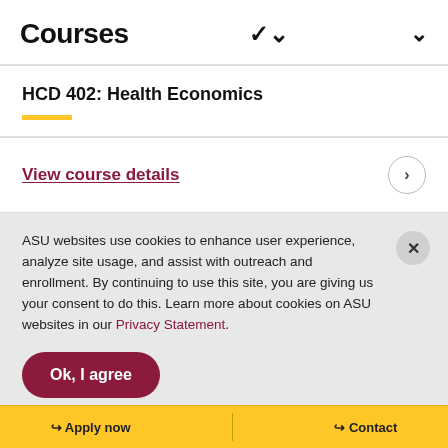Courses
HCD 402: Health Economics
View course details
ASU websites use cookies to enhance user experience, analyze site usage, and assist with outreach and enrollment. By continuing to use this site, you are giving us your consent to do this. Learn more about cookies on ASU websites in our Privacy Statement.
Ok, I agree
Apply now   Contact